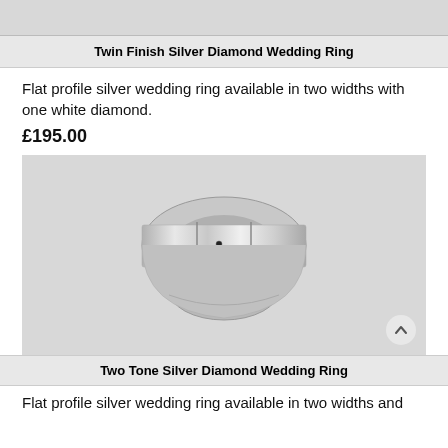[Figure (photo): Gray top bar area]
Twin Finish Silver Diamond Wedding Ring
Flat profile silver wedding ring available in two widths with one white diamond.
£195.00
[Figure (photo): Silver wedding ring with twin finish and a small white diamond set in the flat top surface, shown against a gray background]
Two Tone Silver Diamond Wedding Ring
Flat profile silver wedding ring available in two widths and